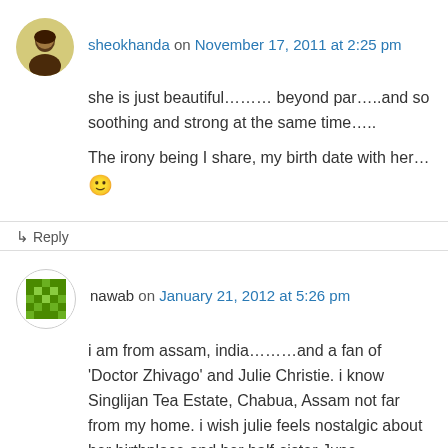sheokhanda on November 17, 2011 at 2:25 pm
she is just beautiful……… beyond par…..and so soothing and strong at the same time…..
The irony being I share, my birth date with her… 🙂
↳ Reply
nawab on January 21, 2012 at 5:26 pm
i am from assam, india………and a fan of 'Doctor Zhivago' and Julie Christie. i know Singlijan Tea Estate, Chabua, Assam not far from my home. i wish julie feels nostalgic about her birthplace and her half-sister June